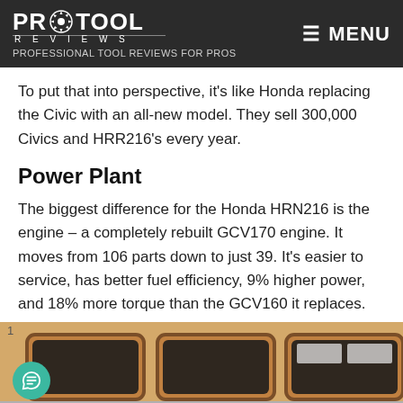PRO TOOL REVIEWS — PROFESSIONAL TOOL REVIEWS FOR PROS — MENU
To put that into perspective, it's like Honda replacing the Civic with an all-new model. They sell 300,000 Civics and HRR216's every year.
Power Plant
The biggest difference for the Honda HRN216 is the engine – a completely rebuilt GCV170 engine. It moves from 106 parts down to just 39. It's easier to service, has better fuel efficiency, 9% higher power, and 18% more torque than the GCV160 it replaces.
[Figure (photo): Photo of Honda lawn mower engine/units showing brown/tan colored mower bodies with dark glass windows, positioned side by side on a shelf or display. A chat button overlay is visible at the bottom left.]